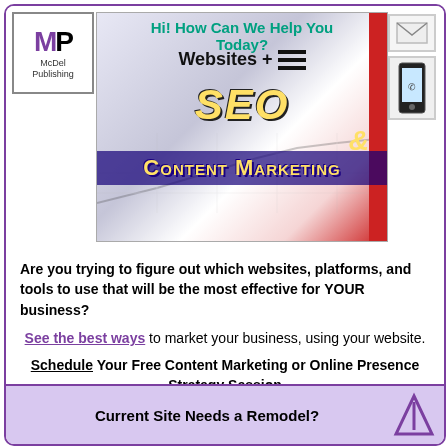[Figure (screenshot): Hero banner with logo (MP McDel Publishing), email icon, phone icon, and website marketing image showing 'Hi! How Can We Help You Today? Websites + SEO & Content Marketing' with teal and yellow text on gradient background]
Are you trying to figure out which websites, platforms, and tools to use that will be the most effective for YOUR business?
See the best ways to market your business, using your website.
Schedule Your Free Content Marketing or Online Presence Strategy Session
Current Site Needs a Remodel?